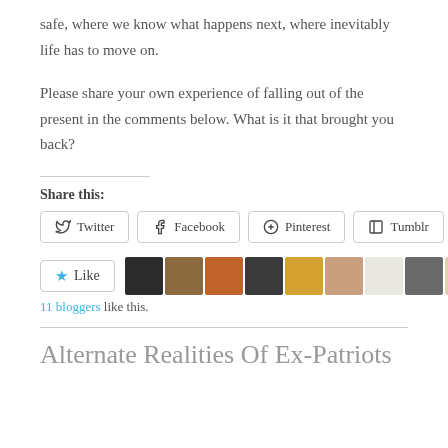safe, where we know what happens next, where inevitably life has to move on.
Please share your own experience of falling out of the present in the comments below. What is it that brought you back?
Share this:
Twitter Facebook Pinterest Tumblr
Like
11 bloggers like this.
Alternate Realities Of Ex-Patriots